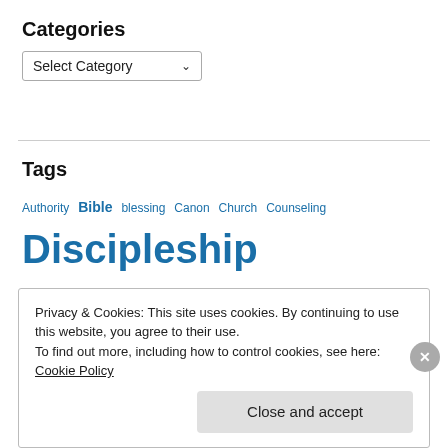Categories
Select Category
Tags
Authority Bible blessing Canon Church Counseling Discipleship Faith God God's Way Growth Holiness Jesus Joy Leadership Love Man's Way Mercy MSG Parenting Prayer Purpose Q&A Relationships
Privacy & Cookies: This site uses cookies. By continuing to use this website, you agree to their use.
To find out more, including how to control cookies, see here: Cookie Policy
Close and accept